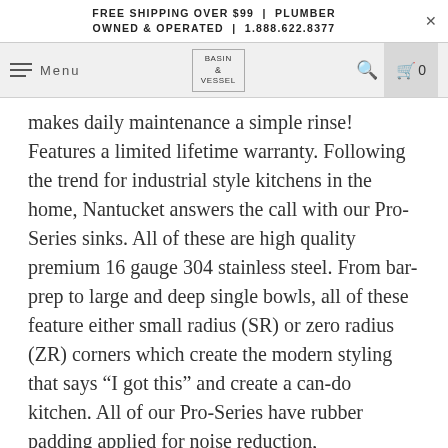FREE SHIPPING OVER $99 | PLUMBER OWNED & OPERATED | 1.888.622.8377
makes daily maintenance a simple rinse! Features a limited lifetime warranty. Following the trend for industrial style kitchens in the home, Nantucket answers the call with our Pro-Series sinks. All of these are high quality premium 16 gauge 304 stainless steel. From bar-prep to large and deep single bowls, all of these feature either small radius (SR) or zero radius (ZR) corners which create the modern styling that says “I got this” and create a can-do kitchen. All of our Pro-Series have rubber padding applied for noise reduction,